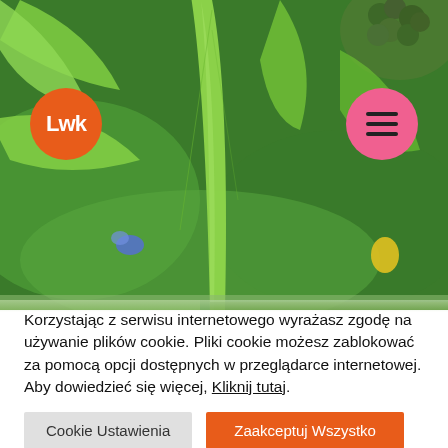[Figure (photo): Green tropical leaves with blurred background of green foliage, blue flower, yellow fruit. Orange circle logo 'LwF' at top left. Pink circle hamburger menu at top right. A second narrower photo strip visible below.]
Korzystając z serwisu internetowego wyrażasz zgodę na używanie plików cookie. Pliki cookie możesz zablokować za pomocą opcji dostępnych w przeglądarce internetowej. Aby dowiedzieć się więcej, Kliknij tutaj.
Cookie Ustawienia
Zaakceptuj Wszystko